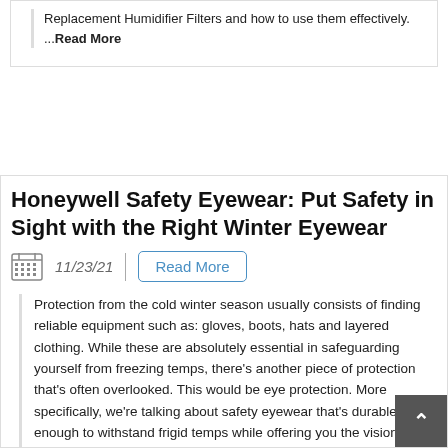Replacement Humidifier Filters and how to use them effectively. ...Read More
Honeywell Safety Eyewear: Put Safety in Sight with the Right Winter Eyewear
11/23/21
Read More
Protection from the cold winter season usually consists of finding reliable equipment such as: gloves, boots, hats and layered clothing. While these are absolutely essential in safeguarding yourself from freezing temps, there's another piece of protection that's often overlooked. This would be eye protection. More specifically, we're talking about safety eyewear that's durable enough to withstand frigid temps while offering you the vision necessary to finish those cold weather assignments. ...Read More